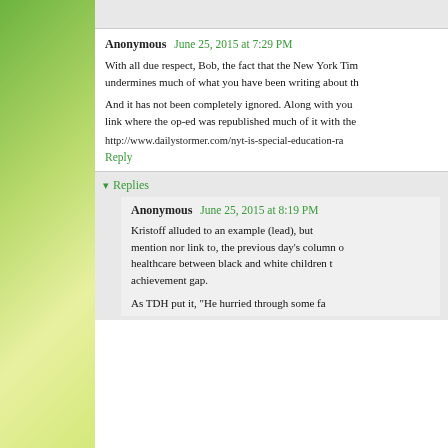Anonymous  June 25, 2015 at 7:29 PM
With all due respect, Bob, the fact that the New York Times undermines much of what you have been writing about th
And it has not been completely ignored. Along with you link where the op-ed was republished much of it with the
http://www.dailystormer.com/nyt-is-special-education-ra
Reply
Replies
Anonymous  June 25, 2015 at 8:19 PM
Kristoff alluded to an example (lead), but mention nor link to, the previous day's column on healthcare between black and white children t achievement gap.
As TDH put it, "He hurried through some fa